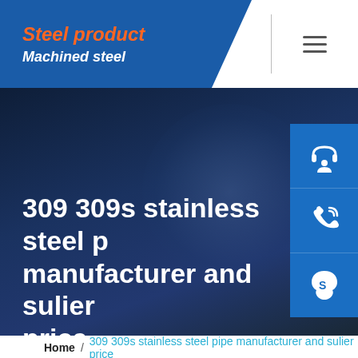Steel product / Machined steel
309 309s stainless steel pipe manufacturer and sulier price
[Figure (screenshot): Three side-panel icon buttons: headset/customer service icon (blue), phone/call icon (blue), Skype icon (blue)]
Home / 309 309s stainless steel pipe manufacturer and sulier price